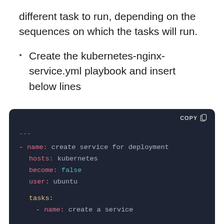different task to run, depending on the sequences on which the tasks will run.
Create the kubernetes-nginx-service.yml playbook and insert below lines
[Figure (screenshot): Dark-themed code block showing a YAML Ansible playbook snippet. Contains: '---', '- name: create service for deployment', 'hosts: kubernetes', 'become: false', 'user: ubuntu', 'tasks:', '- name: create a service'. Has a COPY button in the top-right corner.]